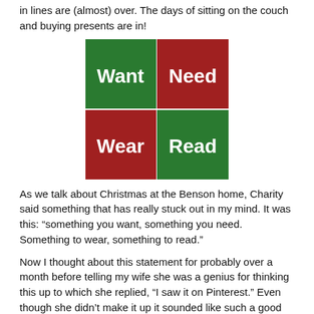in lines are (almost) over. The days of sitting on the couch and buying presents are in!
[Figure (infographic): Four colored quadrants: top-left green with 'Want', top-right dark red with 'Need', bottom-left dark red with 'Wear', bottom-right green with 'Read']
As we talk about Christmas at the Benson home, Charity said something that has really stuck out in my mind. It was this: “something you want, something you need. Something to wear, something to read.”
Now I thought about this statement for probably over a month before telling my wife she was a genius for thinking this up to which she replied, “I saw it on Pinterest.” Even though she didn’t make it up it sounded like such a good idea she started to share it with otherelf overseers and this